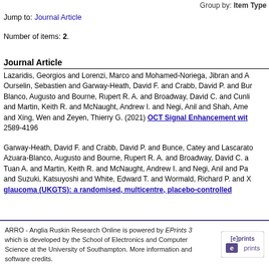Group by: Item Type
Jump to: Journal Article
Number of items: 2.
Journal Article
Lazaridis, Georgios and Lorenzi, Marco and Mohamed-Noriega, Jibran and A... Ourselin, Sebastien and Garway-Heath, David F. and Crabb, David P. and Bur... Blanco, Augusto and Bourne, Rupert R. A. and Broadway, David C. and Cunli... and Martin, Keith R. and McNaught, Andrew I. and Negi, Anil and Shah, Ame... and Xing, Wen and Zeyen, Thierry G. (2021) OCT Signal Enhancement wit... 2589-4196
Garway-Heath, David F. and Crabb, David P. and Bunce, Catey and Lascarato... Azuara-Blanco, Augusto and Bourne, Rupert R. A. and Broadway, David C. a... Tuan A. and Martin, Keith R. and McNaught, Andrew I. and Negi, Anil and Pa... and Suzuki, Katsuyoshi and White, Edward T. and Wormald, Richard P. and X... glaucoma (UKGTS): a randomised, multicentre, placebo-controlled...
ARRO - Anglia Ruskin Research Online is powered by EPrints 3 which is developed by the School of Electronics and Computer Science at the University of Southampton. More information and software credits.